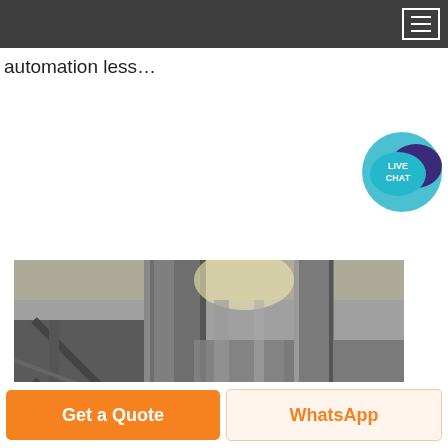automation less…
[Figure (photo): Industrial facility interior showing large metal pipes, ducts, and conveyor/processing equipment in a factory setting. Dark grey metalwork with ductwork, vertical pipes, elbow joints, and industrial machinery visible.]
Get a Quote
WhatsApp